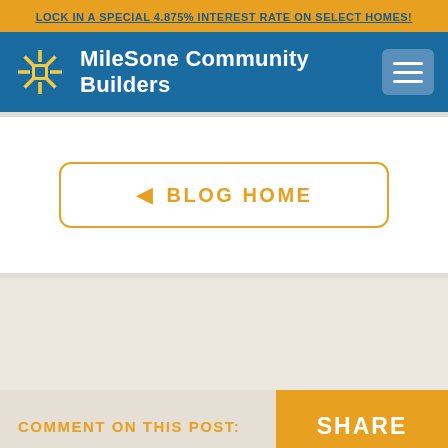LOCK IN A SPECIAL 4.875% INTEREST RATE ON SELECT HOMES!
[Figure (logo): MileSone Community Builders logo with sunburst icon and text, plus hamburger menu button on blue navbar]
BLOG HOME
COMMENT ON THIS POST:
SHARE
NEW HOMES | COMING SOON | CAREERS | CONTACT US